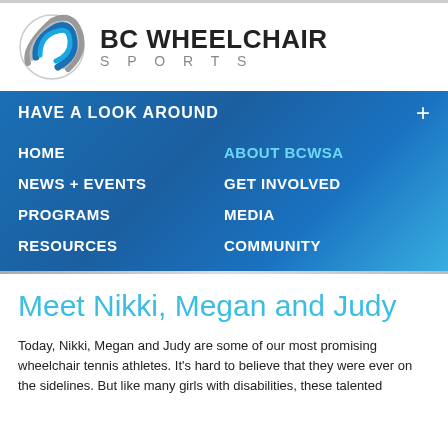[Figure (logo): BC Wheelchair Sports logo with circular swoosh icon and bold text 'BC WHEELCHAIR SPORTS']
HAVE A LOOK AROUND
HOME
ABOUT BCWSA
NEWS + EVENTS
GET INVOLVED
PROGRAMS
MEDIA
RESOURCES
COMMUNITY
Meet Nikki, Megan and Judy
Today, Nikki, Megan and Judy are some of our most promising wheelchair tennis athletes. It's hard to believe that they were ever on the sidelines. But like many girls with disabilities, these talented